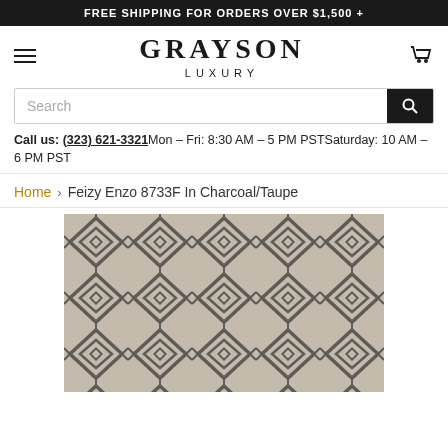FREE SHIPPING FOR ORDERS OVER $1,500 +
GRAYSON LUXURY
Call us: (323) 621-3321 Mon – Fri: 8:30 AM – 5 PM PST Saturday: 10 AM – 6 PM PST
Home > Feizy Enzo 8733F In Charcoal/Taupe
[Figure (photo): Close-up photograph of a Feizy Enzo 8733F rug in Charcoal/Taupe colorway showing a repeating diamond and chevron geometric pattern in charcoal grey on a taupe/cream background.]